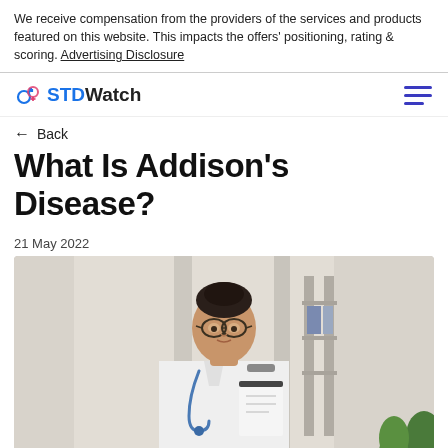We receive compensation from the providers of the services and products featured on this website. This impacts the offers' positioning, rating & scoring. Advertising Disclosure
STDWatch
← Back
What Is Addison's Disease?
21 May 2022
[Figure (photo): Female doctor wearing white coat, glasses, and stethoscope, holding a clipboard, standing in a medical office]